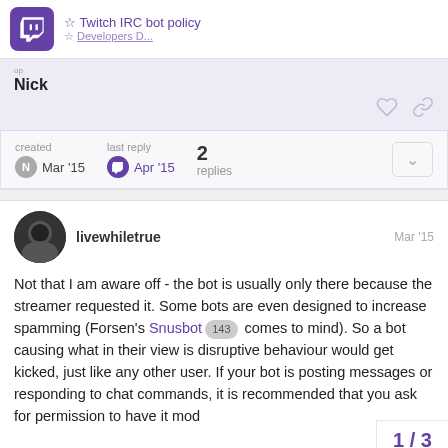Twitch IRC bot policy
Nick
created Mar '15  last reply Apr '15  2 replies
livewhiletrue  Mar '15
Not that I am aware off - the bot is usually only there because the streamer requested it. Some bots are even designed to increase spamming (Forsen's Snusbot 143 comes to mind). So a bot causing what in their view is disruptive behaviour would get kicked, just like any other user. If your bot is posting messages or responding to chat commands, it is recommended that you ask for permission to have it mod
1 / 3